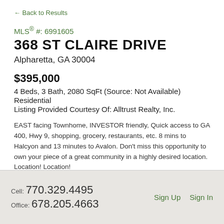← Back to Results
MLS® #: 6991605
368 ST CLAIRE DRIVE
Alpharetta, GA 30004
$395,000
4 Beds, 3 Bath, 2080 SqFt (Source: Not Available)
Residential
Listing Provided Courtesy Of: Alltrust Realty, Inc.
EAST facing Townhome, INVESTOR friendly, Quick access to GA 400, Hwy 9, shopping, grocery, restaurants, etc. 8 mins to Halcyon and 13 minutes to Avalon. Don't miss this opportunity to own your piece of a great community in a highly desired location. Location! Location!
Cell: 770.329.4495 Office: 678.205.4663 Sign Up Sign In